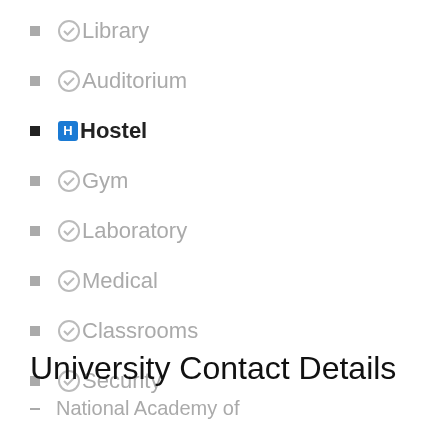Library
Auditorium
Hostel
Gym
Laboratory
Medical
Classrooms
Security
University Contact Details
National Academy of